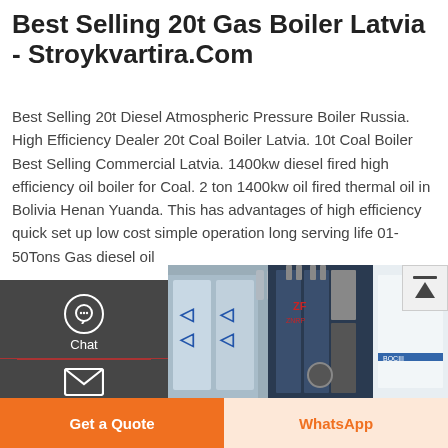Best Selling 20t Gas Boiler Latvia - Stroykvartira.Com
Best Selling 20t Diesel Atmospheric Pressure Boiler Russia. High Efficiency Dealer 20t Coal Boiler Latvia. 10t Coal Boiler Best Selling Commercial Latvia. 1400kw diesel fired high efficiency oil boiler for Coal. 2 ton 1400kw oil fired thermal oil in Bolivia Henan Yuanda. This has advantages of high efficiency quick set up low cost simple operation long serving life 01-50Tons Gas diesel oil
[Figure (screenshot): UI sidebar overlay with Chat, Email, Contact, and scroll-up icons on dark background; teal Get A Quote button visible]
[Figure (photo): Photo of industrial gas boilers - dark blue boiler unit with silver trim in center, blue-wrapped units on left, white unit on right, indoor industrial setting]